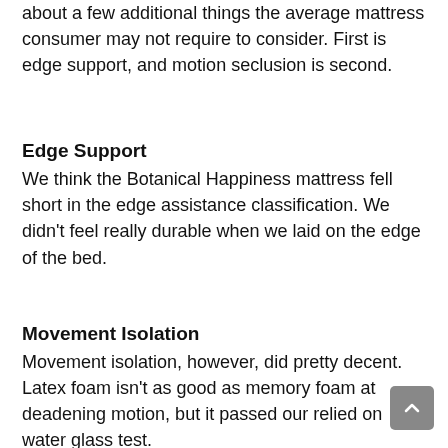about a few additional things the average mattress consumer may not require to consider. First is edge support, and motion seclusion is second.
Edge Support
We think the Botanical Happiness mattress fell short in the edge assistance classification. We didn't feel really durable when we laid on the edge of the bed.
Movement Isolation
Movement isolation, however, did pretty decent. Latex foam isn't as good as memory foam at deadening motion, but it passed our relied on water glass test.